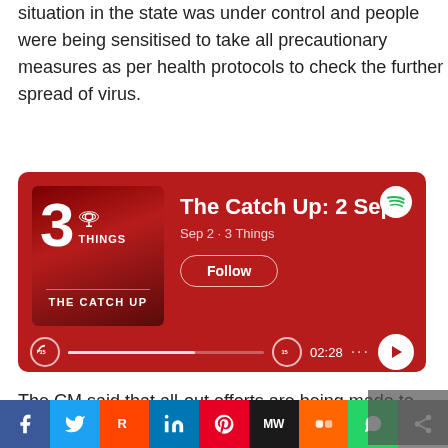situation in the state was under control and people were being sensitised to take all precautionary measures as per health protocols to check the further spread of virus.
[Figure (screenshot): Spotify podcast embed card with dark red background showing '3 Things - The Catch Up: 2 Sep' episode, Sep 2 · 3 Things, with Follow button and audio player bar showing 02:28 timestamp]
The CM said that all-out efforts are being made to arrange sufficient stock of medicines, ventilators and oxygen in case
[Figure (infographic): Social media share bar with icons for Facebook, Twitter, Reddit, LinkedIn, Pinterest, MW, Mix, WhatsApp, and Share]